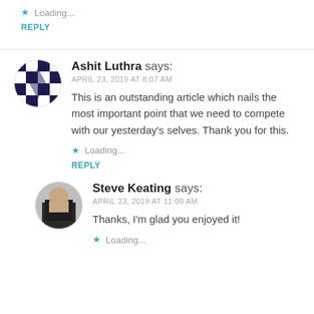Loading...
REPLY
Ashit Luthra says:
APRIL 23, 2019 AT 8:07 AM
This is an outstanding article which nails the most important point that we need to compete with our yesterday's selves. Thank you for this.
Loading...
REPLY
Steve Keating says:
APRIL 23, 2019 AT 11:09 AM
Thanks, I'm glad you enjoyed it!
Loading...